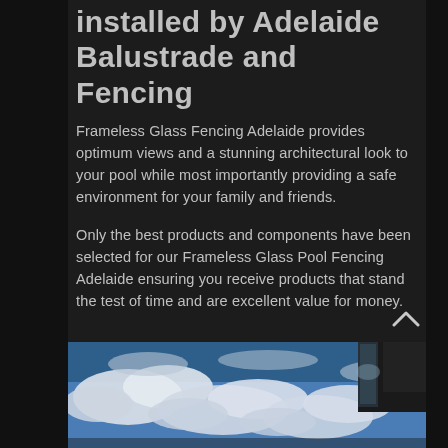installed by Adelaide Balustrade and Fencing
Frameless Glass Fencing Adelaide provides optimum views and a stunning architectural look to your pool while most importantly providing a safe environment for your family and friends.
Only the best products and components have been selected for our Frameless Glass Pool Fencing Adelaide ensuring you receive products that stand the test of time and are excellent value for money.
[Figure (photo): Upward view of blue sky with white clouds and a dark building structure with frameless glass panel in the upper right corner]